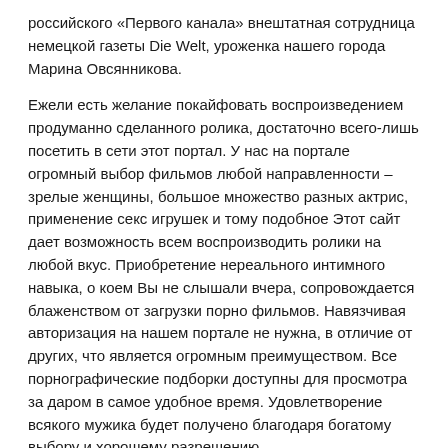российского «Первого канала» внештатная сотрудница немецкой газеты Die Welt, уроженка нашего города Марина Овсянникова.
Ежели есть желание покайфовать воспроизведением продуманно сделанного ролика, достаточно всего-лишь посетить в сети этот портал. У нас на портале огромный выбор фильмов любой направленности – зрелые женщины, большое множество разных актрис, применение секс игрушек и тому подобное Этот сайт дает возможность всем воспроизводить ролики на любой вкус. Приобретение нереального интимного навыка, о коем Вы не слышали вчера, сопровождается блаженством от загрузки порно фильмов. Навязчивая авторизация на нашем портале не нужна, в отличие от других, что является огромным преимуществом. Все порнографические подборки доступны для просмотра за даром в самое удобное время. Удовлетворение всякого мужика будет получено благодаря богатому выбору и хорошему разрешению.
Главным отличием является то, что От вас не требуется прилаживать практически никаких серьезных усилий. На сайте мужчины смогут сохранить, а так же посмотреть нарезку имея